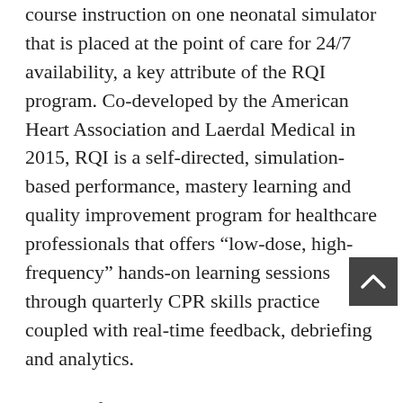course instruction on one neonatal simulator that is placed at the point of care for 24/7 availability, a key attribute of the RQI program. Co-developed by the American Heart Association and Laerdal Medical in 2015, RQI is a self-directed, simulation-based performance, mastery learning and quality improvement program for healthcare professionals that offers “low-dose, high-frequency” hands-on learning sessions through quarterly CPR skills practice coupled with real-time feedback, debriefing and analytics.
As one of the more than 1,000 hospitals nationwide and outside the country that currently use RQI to advance resuscitation education, Eisenhower Health’s